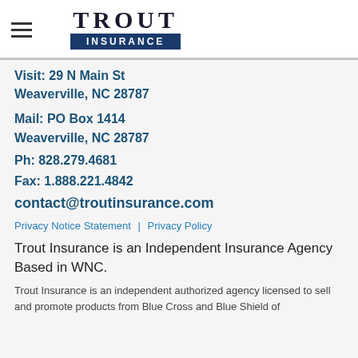TROUT INSURANCE
Visit: 29 N Main St
Weaverville, NC 28787
Mail: PO Box 1414
Weaverville, NC 28787
Ph: 828.279.4681
Fax: 1.888.221.4842
contact@troutinsurance.com
Privacy Notice Statement | Privacy Policy
Trout Insurance is an Independent Insurance Agency Based in WNC.
Trout Insurance is an independent authorized agency licensed to sell and promote products from Blue Cross and Blue Shield of